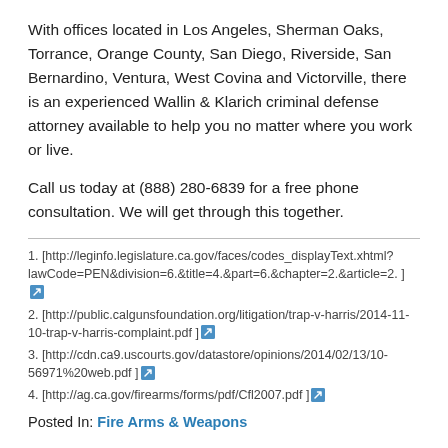With offices located in Los Angeles, Sherman Oaks, Torrance, Orange County, San Diego, Riverside, San Bernardino, Ventura, West Covina and Victorville, there is an experienced Wallin & Klarich criminal defense attorney available to help you no matter where you work or live.
Call us today at (888) 280-6839 for a free phone consultation. We will get through this together.
1. [http://leginfo.legislature.ca.gov/faces/codes_displayText.xhtml?lawCode=PEN&division=6.&title=4.&part=6.&chapter=2.&article=2. ]
2. [http://public.calgunsfoundation.org/litigation/trap-v-harris/2014-11-10-trap-v-harris-complaint.pdf ]
3. [http://cdn.ca9.uscourts.gov/datastore/opinions/2014/02/13/10-56971%20web.pdf ]
4. [http://ag.ca.gov/firearms/forms/pdf/Cfl2007.pdf ]
Posted In: Fire Arms & Weapons